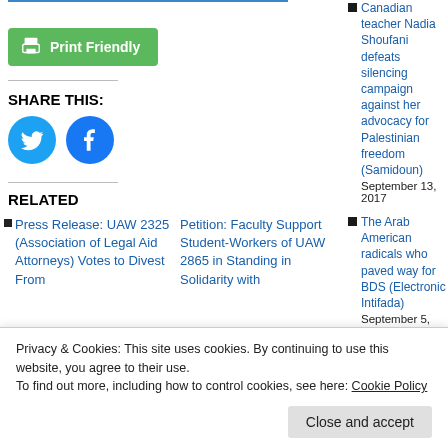[Figure (other): Print Friendly green button with printer icon]
SHARE THIS:
[Figure (other): Twitter and Facebook social share circles (blue icons)]
RELATED
Press Release: UAW 2325 (Association of Legal Aid Attorneys) Votes to Divest From
Petition: Faculty Support Student-Workers of UAW 2865 in Standing in Solidarity with
Canadian teacher Nadia Shoufani defeats silencing campaign against her advocacy for Palestinian freedom (Samidoun)
September 13, 2017
The Arab American radicals who paved way for BDS (Electronic Intifada)
September 5, 2017
Stop Fascism & White Supremacy: National Day of Action in Solidarity
Privacy & Cookies: This site uses cookies. By continuing to use this website, you agree to their use.
To find out more, including how to control cookies, see here: Cookie Policy
Close and accept
In "BDS"
Smorgasbord of